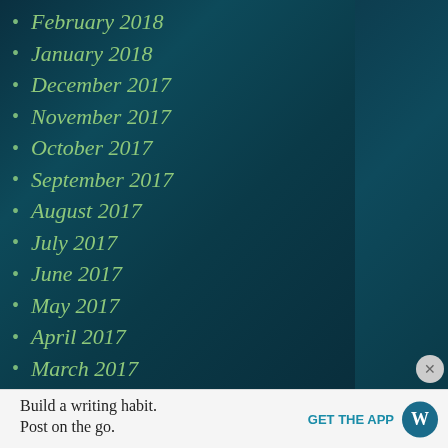February 2018
January 2018
December 2017
November 2017
October 2017
September 2017
August 2017
July 2017
June 2017
May 2017
April 2017
March 2017
February 2017
Build a writing habit. Post on the go.
GET THE APP